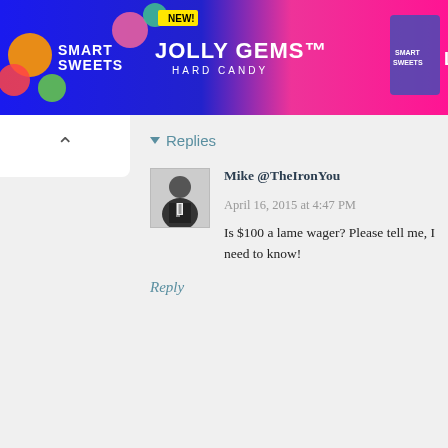[Figure (illustration): SmartSweets Jolly Gems Hard Candy advertisement banner. Blue and pink background with candy imagery. Text: NEW!, JOLLY GEMS, HARD CANDY, SmartSweets logo, 89% LESS SUGAR THAN OTHER HARD CANDIES, SHOP NOW button. Ad indicator in top right.]
Replies
Mike @TheIronYou   April 16, 2015 at 4:47 PM
Is $100 a lame wager? Please tell me, I need to know!
Reply